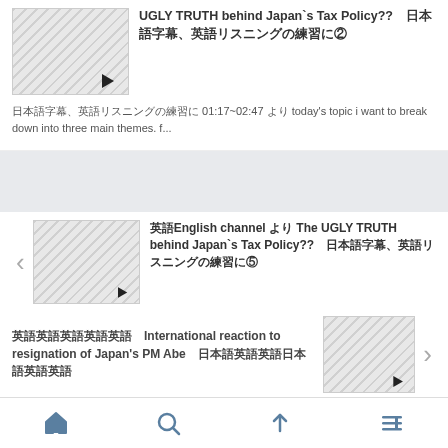[Figure (screenshot): Thumbnail image with diagonal stripe pattern]
UGLY TRUTH behind Japan`s Tax Policy??　日本語字幕、英語リスニングの練習に②
日本語字幕、英語リスニングの練習に 01:17~02:47 より today's topic i want to break down into three main themes. f...
[Figure (screenshot): Thumbnail image with diagonal stripe pattern]
英語English channel より The UGLY TRUTH behind Japan`s Tax Policy??　日本語字幕、英語リスニングの練習に⑤
英語英語英語英語英語　International reaction to resignation of Japan's PM Abe　日本語英語英語日本語英語英語英語英語
[Figure (screenshot): Thumbnail image with diagonal stripe pattern]